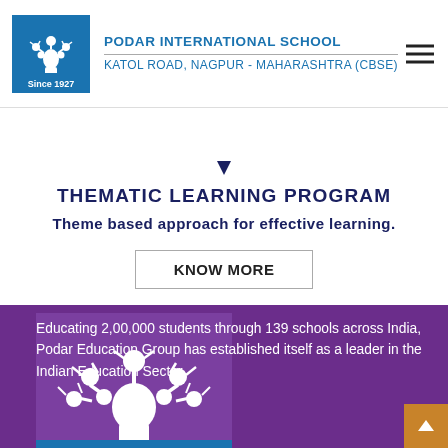PODAR INTERNATIONAL SCHOOL
KATOL ROAD, NAGPUR - MAHARASHTRA (CBSE)
THEMATIC LEARNING PROGRAM
Theme based approach for effective learning.
KNOW MORE
[Figure (logo): Podar Education Group tree logo on purple background with 'Since 1927' badge]
Educating 2,00,000 students through 139 schools across India, Podar Education Group has established itself as a leader in the Indian Education Sector.